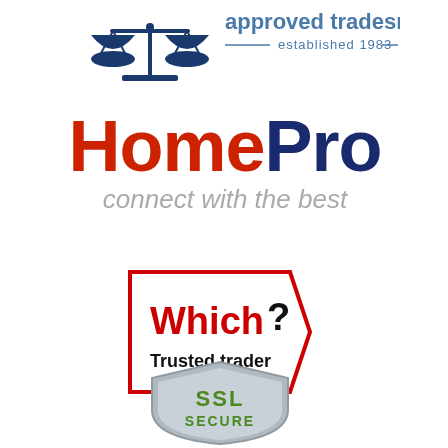[Figure (logo): Approved Tradesmen logo with scales icon and text 'approved tradesmen established 1983']
[Figure (logo): HomePro logo with tagline 'connect with the best']
[Figure (logo): Which? Trusted trader logo in red pentagon/tag shape]
[Figure (logo): SSL Secure shield logo in silver/green]